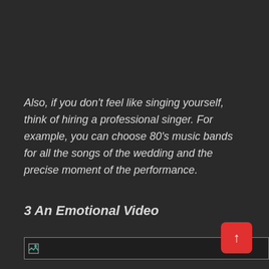Also, if you don't feel like singing yourself, think of hiring a professional singer. For example, you can choose 80's music bands for all the songs of the wedding and the precise moment of the performance.
3 An Emotional Video
[Figure (other): Broken image placeholder with a small icon on a dark background with a thin border line]
[Figure (other): Red rounded square back-to-top button with upward arrow]